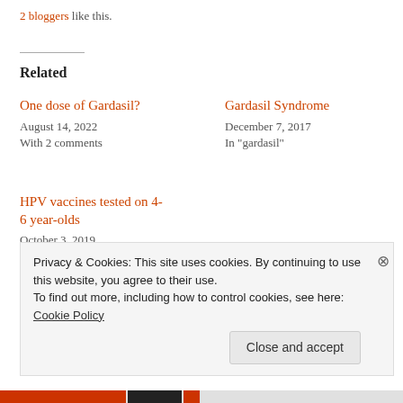2 bloggers like this.
Related
One dose of Gardasil?
August 14, 2022
With 2 comments
Gardasil Syndrome
December 7, 2017
In "gardasil"
HPV vaccines tested on 4-6 year-olds
October 3, 2019
In "gardasil"
Privacy & Cookies: This site uses cookies. By continuing to use this website, you agree to their use.
To find out more, including how to control cookies, see here:
Cookie Policy
Close and accept